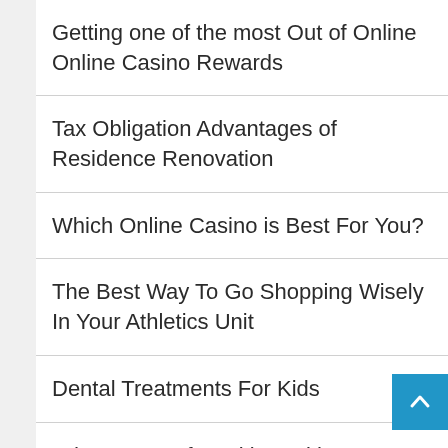Getting one of the most Out of Online Online Casino Rewards
Tax Obligation Advantages of Residence Renovation
Which Online Casino is Best For You?
The Best Way To Go Shopping Wisely In Your Athletics Unit
Dental Treatments For Kids
Advantages of Working With a Traveling Company
Being Familiar With The Many Benefits Of Video Marketing